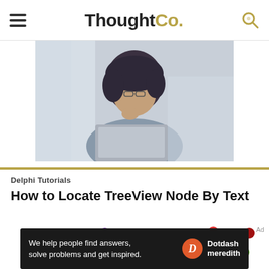ThoughtCo.
[Figure (photo): Woman with dark curly hair sitting at a laptop, resting chin on hand, looking thoughtful]
Delphi Tutorials
How to Locate TreeView Node By Text
[Figure (network-graph): Colorful network graph with nodes connected by lines in various colors including red, green, purple, teal, yellow, orange]
Ad
We help people find answers, solve problems and get inspired. Dotdash meredith